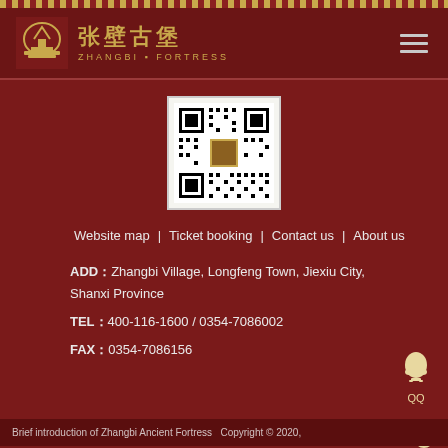张壁古堡 ZHANGBI FORTRESS
[Figure (other): QR code for Zhangbi Fortress WeChat or website]
Website map  |  Ticket booking  |  Contact us  |  About us
ADD：Zhangbi Village, Longfeng Town, Jiexiu City, Shanxi Province
TEL：400-116-1600 / 0354-7086002
FAX：0354-7086156
Brief introduction of Zhangbi Ancient Fortress  Copyright © 2020,